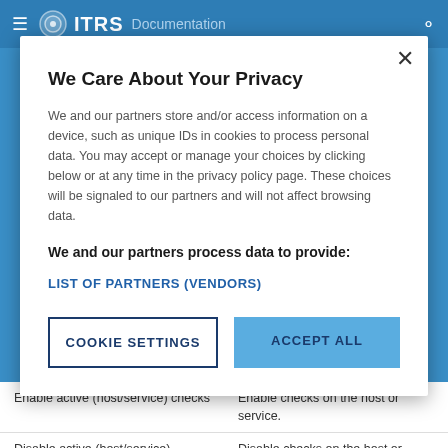ITRS Documentation
[Figure (screenshot): Privacy consent modal dialog over ITRS Documentation website. Modal contains title 'We Care About Your Privacy', body text about cookies and partners, a 'LIST OF PARTNERS (VENDORS)' link, 'COOKIE SETTINGS' and 'ACCEPT ALL' buttons.]
We Care About Your Privacy
We and our partners store and/or access information on a device, such as unique IDs in cookies to process personal data. You may accept or manage your choices by clicking below or at any time in the privacy policy page. These choices will be signaled to our partners and will not affect browsing data.
We and our partners process data to provide:
LIST OF PARTNERS (VENDORS)
| Action | Description |
| --- | --- |
| Enable active (host/service) checks | Enable checks on the host or service. |
| Disable active (host/service) checks | Disable checks on the host or service. |
| Disable notifications for all | Disable notifications for all |